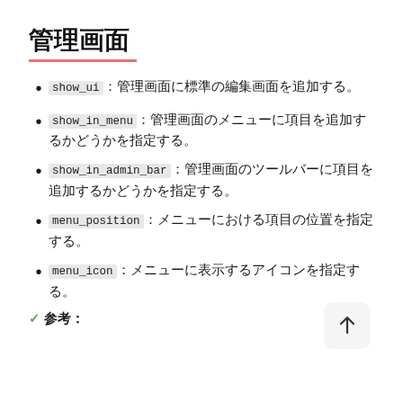管理画面
show_ui：管理画面に標準の編集画面を追加する。
show_in_menu：管理画面のメニューに項目を追加するかどうかを指定する。
show_in_admin_bar：管理画面のツールバーに項目を追加するかどうかを指定する。
menu_position：メニューにおける項目の位置を指定する。
menu_icon：メニューに表示するアイコンを指定する。
✓参考: